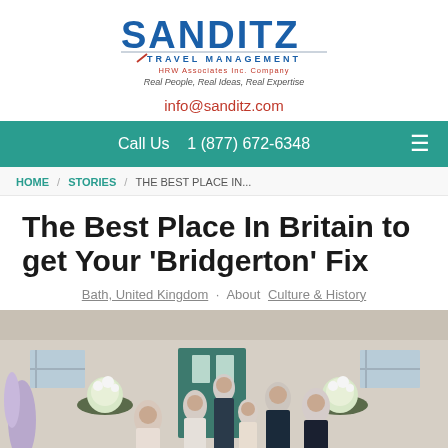[Figure (logo): Sanditz Travel Management logo with tagline: Real People, Real Ideas, Real Expertise]
info@sanditz.com
Call Us   1 (877) 672-6348
HOME / STORIES / THE BEST PLACE IN...
The Best Place In Britain to get Your 'Bridgerton' Fix
Bath, United Kingdom · About Culture & History
[Figure (photo): Group photo of Bridgerton cast members in period costume in front of a Georgian building with flower arrangements]